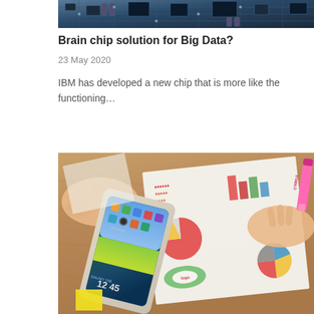[Figure (photo): Close-up photo of a circuit board / electronic chip component, dark colored, showing microchip patterns]
Brain chip solution for Big Data?
23 May 2020
IBM has developed a new chip that is more like the functioning...
[Figure (photo): Overhead photo of hands on a wooden desk with a Samsung Galaxy Tab tablet showing a colorful wallpaper, printed report pages with charts (pie charts, bar charts, infographics), a pink highlighter marker, and a yellow sticky note]